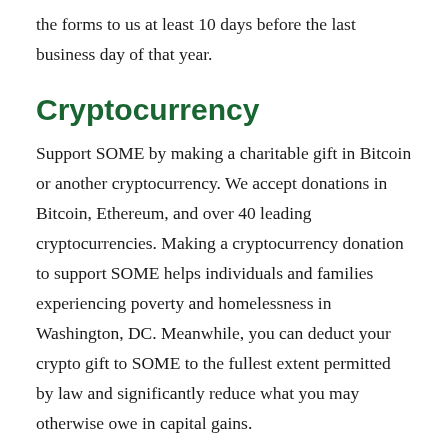the forms to us at least 10 days before the last business day of that year.
Cryptocurrency
Support SOME by making a charitable gift in Bitcoin or another cryptocurrency. We accept donations in Bitcoin, Ethereum, and over 40 leading cryptocurrencies. Making a cryptocurrency donation to support SOME helps individuals and families experiencing poverty and homelessness in Washington, DC. Meanwhile, you can deduct your crypto gift to SOME to the fullest extent permitted by law and significantly reduce what you may otherwise owe in capital gains.